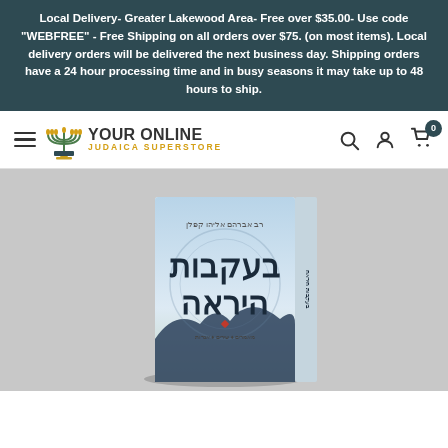Local Delivery- Greater Lakewood Area- Free over $35.00- Use code "WEBFREE" - Free Shipping on all orders over $75. (on most items). Local delivery orders will be delivered the next business day. Shipping orders have a 24 hour processing time and in busy seasons it may take up to 48 hours to ship.
[Figure (logo): Your Online Judaica Superstore logo with menorah icon, navigation icons (search, account, cart with 0 badge), and hamburger menu]
[Figure (photo): A book with Hebrew text on the cover reading 'Be'ikvot HaYirah' (In the Footsteps of Awe), shown standing upright against a light gray background. The cover features a misty mountain landscape and circular watermark design.]